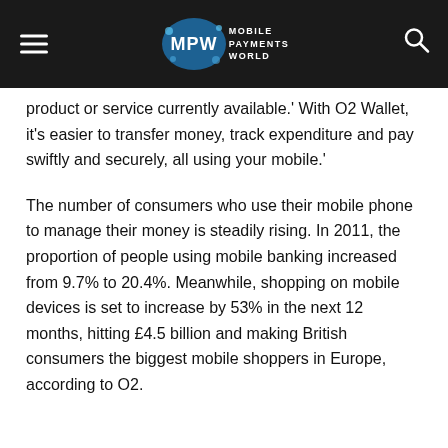MPW Mobile Payments World
product or service currently available.' With O2 Wallet, it's easier to transfer money, track expenditure and pay swiftly and securely, all using your mobile.'
The number of consumers who use their mobile phone to manage their money is steadily rising. In 2011, the proportion of people using mobile banking increased from 9.7% to 20.4%. Meanwhile, shopping on mobile devices is set to increase by 53% in the next 12 months, hitting £4.5 billion and making British consumers the biggest mobile shoppers in Europe, according to O2.